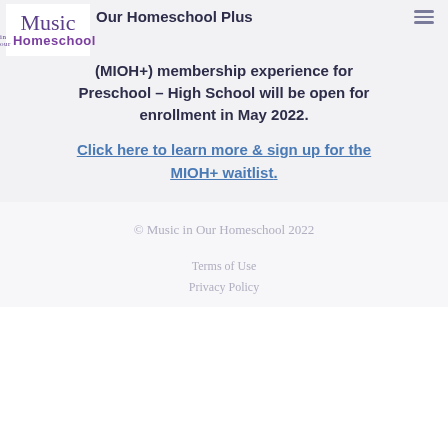[Figure (logo): Music in Our Homeschool logo — cursive 'Music' in purple, 'in our' small text, 'Homeschool' bold sans-serif in purple]
Our Homeschool Plus (MIOH+) membership experience for Preschool – High School will be open for enrollment in May 2022.
Click here to learn more & sign up for the MIOH+ waitlist.
© Music in Our Homeschool 2022
Terms of Use
Privacy Policy